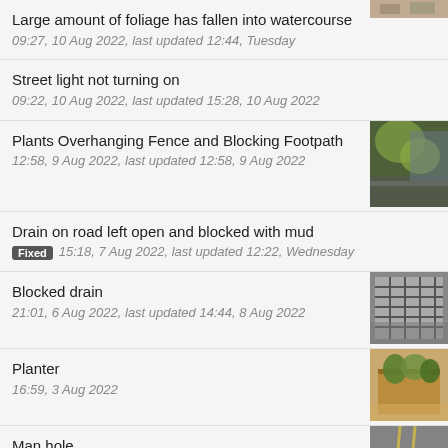[Figure (photo): Partial thumbnail visible at top right corner]
Large amount of foliage has fallen into watercourse
09:27, 10 Aug 2022, last updated 12:44, Tuesday
Street light not turning on
09:22, 10 Aug 2022, last updated 15:28, 10 Aug 2022
Plants Overhanging Fence and Blocking Footpath
12:58, 9 Aug 2022, last updated 12:58, 9 Aug 2022
[Figure (photo): Photo of plants overhanging fence on footpath]
Drain on road left open and blocked with mud
[Fixed] 15:18, 7 Aug 2022, last updated 12:22, Wednesday
Blocked drain
21:01, 6 Aug 2022, last updated 14:44, 8 Aug 2022
[Figure (photo): Photo of a blocked drain grate]
Planter
16:59, 3 Aug 2022
[Figure (photo): Photo of a planter with overgrown vegetation]
Man hole
16:59, 3 Aug 2022
[Figure (photo): Photo of road with manhole]